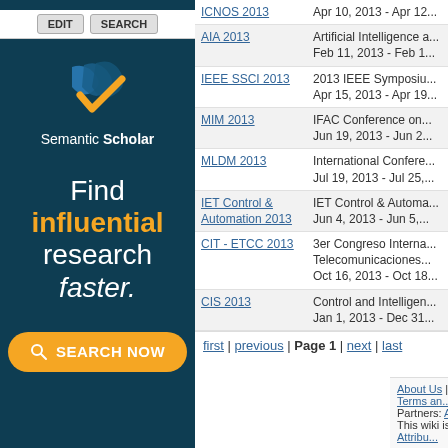[Figure (logo): Semantic Scholar advertisement banner with dark teal background, logo with blue and yellow chevron, text 'Find influential research faster.' and a yellow 'SEARCH NOW' button.]
| Conference | Info |
| --- | --- |
| ICNOS 2013 | Apr 10, 2013 - Apr 12... |
| AIA 2013 | Artificial Intelligence a...
Feb 11, 2013 - Feb 1... |
| IEEE SSCI 2013 | 2013 IEEE Symposiu...
Apr 15, 2013 - Apr 19... |
| MIM 2013 | IFAC Conference on...
Jun 19, 2013 - Jun 2... |
| MLDM 2013 | International Confere...
Jul 19, 2013 - Jul 25,... |
| IET Control & Automation 2013 | IET Control & Automa...
Jun 4, 2013 - Jun 5,... |
| CIT - ETCC 2013 | 3er Congreso Interna... Telecomunicaciones...
Oct 16, 2013 - Oct 18... |
| CIS 2013 | Control and Intelligen...
Jan 1, 2013 - Dec 31... |
first | previous | Page 1 | next | last
About Us | Contact Us | Data | Privacy Policy | Terms an...
Partners: AI2's Semantic Scholar
This wiki is licensed under a Creative Commons Attribu...